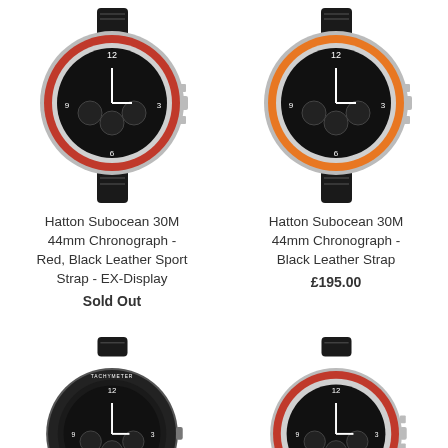[Figure (photo): Hatton Subocean 30M 44mm Chronograph watch with red bezel and black leather sport strap]
[Figure (photo): Hatton Subocean 30M 44mm Chronograph watch with orange bezel and black leather strap]
Hatton Subocean 30M 44mm Chronograph - Red, Black Leather Sport Strap - EX-Display
Sold Out
Hatton Subocean 30M 44mm Chronograph - Black Leather Strap
£195.00
[Figure (photo): Hatton chronograph watch with black bezel and tachymeter, black leather strap]
[Figure (photo): Hatton Subocean chronograph watch with red bezel and black dial, black leather strap]